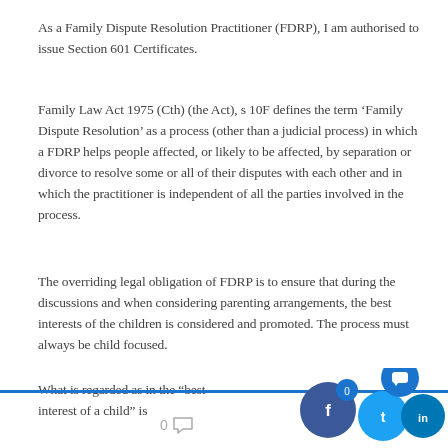As a Family Dispute Resolution Practitioner (FDRP), I am authorised to issue Section 601 Certificates.
Family Law Act 1975 (Cth) (the Act), s 10F defines the term ‘Family Dispute Resolution’ as a process (other than a judicial process) in which a FDRP helps people affected, or likely to be affected, by separation or divorce to resolve some or all of their disputes with each other and in which the practitioner is independent of all the parties involved in the process.
The overriding legal obligation of FDRP is to ensure that during the discussions and when considering parenting arrangements, the best interests of the children is considered and promoted. The process must always be child focused.
What is regarded as in the “best interest of a child” is
0